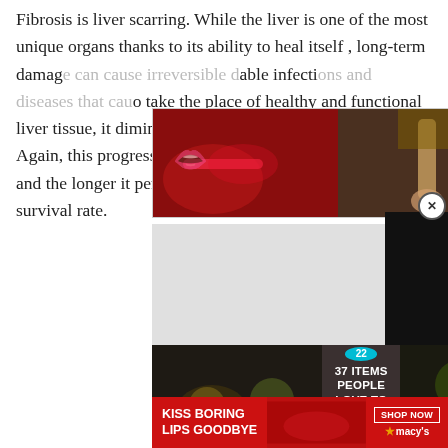Fibrosis is liver scarring. While the liver is one of the most unique organs thanks to its ability to heal itself , long-term damage can cause irreversible damage. With prolonged infections and diseases that cause the liver to take the place of healthy and functional liver tissue, it diminishes the livers ability to function. Again, this progressive damage is not always detectable, and the longer it persists, the more it affects the individuals survival rate.
[Figure (photo): ULTA Beauty advertisement banner showing close-up beauty/makeup images with ULTA logo and SHOP NOW call to action]
[Figure (photo): Amazon promotional banner: 37 ITEMS PEOPLE LOVE TO PURCHASE ON AMAZON with badge showing 22 and a CLOSE button]
[Figure (photo): Macy's advertisement: KISS BORING LIPS GOODBYE with SHOP NOW button and Macy's star logo]